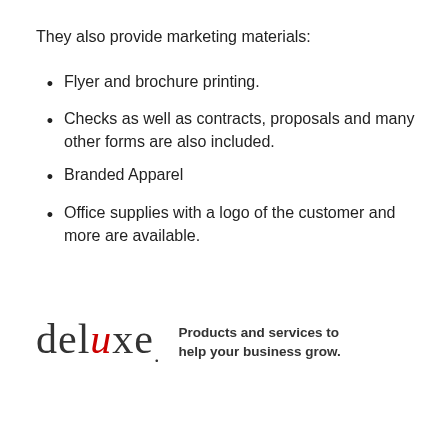They also provide marketing materials:
Flyer and brochure printing.
Checks as well as contracts, proposals and many other forms are also included.
Branded Apparel
Office supplies with a logo of the customer and more are available.
[Figure (logo): Deluxe logo with tagline: Products and services to help your business grow.]